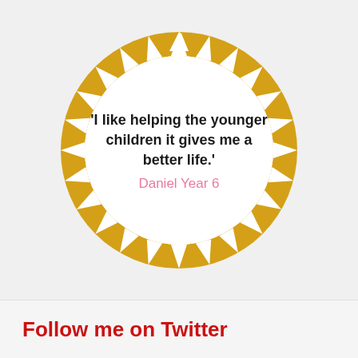[Figure (illustration): A golden yellow sunburst / starburst circle badge with triangular spikes around the perimeter and a white center. Inside the white center: bold quote text 'I like helping the younger children it gives me a better life.' followed by 'Daniel Year 6' in pink.]
'I like helping the younger children it gives me a better life.' Daniel Year 6
Follow me on Twitter